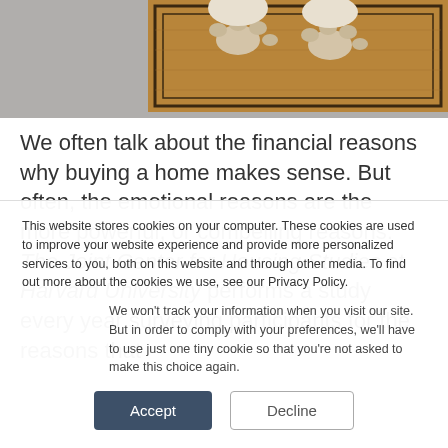[Figure (photo): Close-up photo of a dog's paws resting on a doormat, showing a brown rectangular mat with a dark border pattern on a gray surface.]
We often talk about the financial reasons why buying a home makes sense. But often, the emotional reasons are the more powerful, or compelling reasons. The Joint Center for Housing Studies at Harvard University performs a study every year surveying participants for the reasons that
This website stores cookies on your computer. These cookies are used to improve your website experience and provide more personalized services to you, both on this website and through other media. To find out more about the cookies we use, see our Privacy Policy.
We won't track your information when you visit our site. But in order to comply with your preferences, we'll have to use just one tiny cookie so that you're not asked to make this choice again.